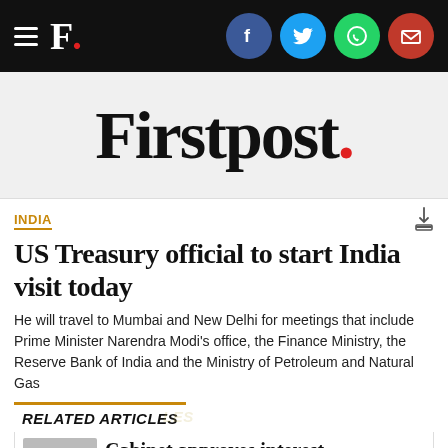Firstpost.
[Figure (logo): Firstpost logo with red period on grey background]
INDIA
US Treasury official to start India visit today
He will travel to Mumbai and New Delhi for meetings that include Prime Minister Narendra Modi's office, the Finance Ministry, the Reserve Bank of India and the Ministry of Petroleum and Natural Gas
RELATED ARTICLES
Cabinet approves interest